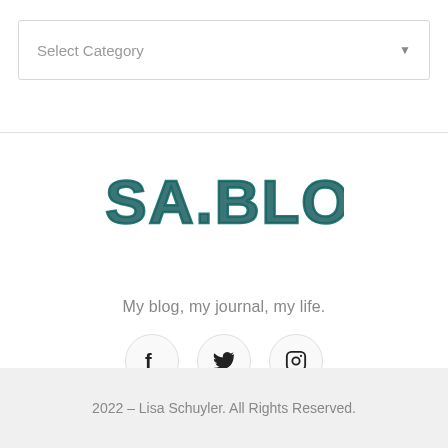Select Category
[Figure (logo): LISA.BLOG handwritten-style logo in teal/dark teal color]
My blog, my journal, my life.
[Figure (infographic): Three circular social media icons: Facebook (f), Twitter (bird), Instagram (camera)]
2022 – Lisa Schuyler. All Rights Reserved.